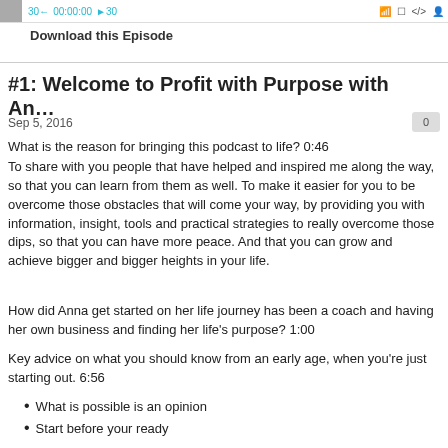30← 00:00:00 ▶30 [media player controls]
Download this Episode
#1: Welcome to Profit with Purpose with An…
Sep 5, 2016
What is the reason for bringing this podcast to life? 0:46
To share with you people that have helped and inspired me along the way, so that you can learn from them as well. To make it easier for you to be overcome those obstacles that will come your way, by providing you with information, insight, tools and practical strategies to really overcome those dips, so that you can have more peace. And that you can grow and achieve bigger and bigger heights in your life.
How did Anna get started on her life journey has been a coach and having her own business and finding her life's purpose? 1:00
Key advice on what you should know from an early age, when you're just starting out. 6:56
What is possible is an opinion
Start before your ready